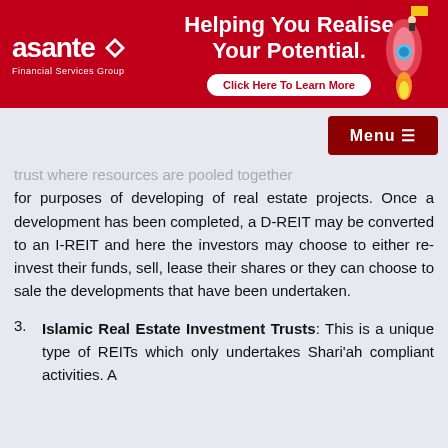[Figure (illustration): Asante Financial Services Group banner ad with red background, white logo text, headline 'Helping You Realise Your Potential.', a white 'Click Here To Learn More' button, and a rocket illustration on the right.]
Menu ≡
trust where resources are pooled together for purposes of developing of real estate projects. Once a development has been completed, a D-REIT may be converted to an I-REIT and here the investors may choose to either re-invest their funds, sell, lease their shares or they can choose to sale the developments that have been undertaken.
3. Islamic Real Estate Investment Trusts: This is a unique type of REITs which only undertakes Shari'ah compliant activities. A